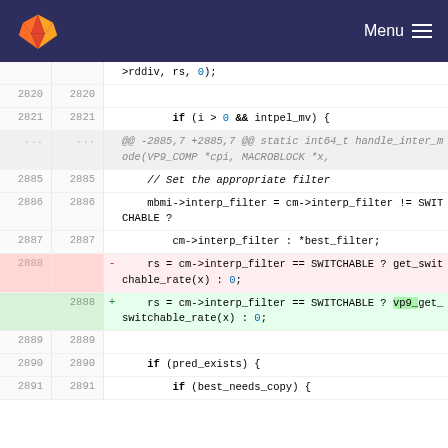GitLab — Menu
[Figure (screenshot): GitLab code diff view showing changes to a C source file around lines 2820-2891. A removed line (2888) shows 'rs = cm->interp_filter == SWITCHABLE ? get_switchable_rate(x) : 0;' and an added line (2888) shows 'rs = cm->interp_filter == SWITCHABLE ? vp9_get_switchable_rate(x) : 0;']